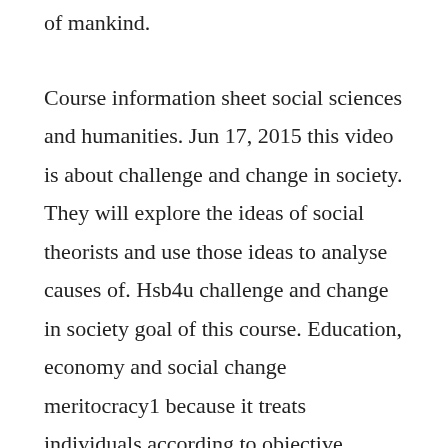of mankind.
Course information sheet social sciences and humanities. Jun 17, 2015 this video is about challenge and change in society. They will explore the ideas of social theorists and use those ideas to analyse causes of. Hsb4u challenge and change in society goal of this course. Education, economy and social change meritocracy1 because it treats individuals according to objective criteria.
In some societies, existing social institutions hold a fair degree of respect as long as they